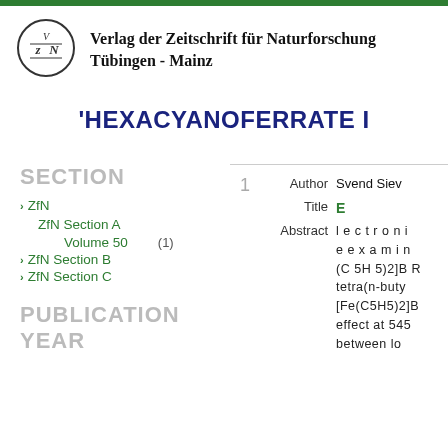[Figure (logo): Verlag der Zeitschrift für Naturforschung circular logo with stylized VzN letters]
Verlag der Zeitschrift für Naturforschung
Tübingen - Mainz
'HEXACYANOFERRATE I
SECTION
ZfN
ZfN Section A
Volume 50   (1)
ZfN Section B
ZfN Section C
PUBLICATION YEAR
1   Author Svend Siev
    Title E
    Abstract l e c t r o n i c e e x a m i n (C 5H 5)2]B R tetra(n-buty [Fe(C5H5)2]B effect at 545 between lo